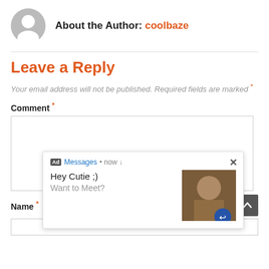About the Author: coolbaze
Leave a Reply
Your email address will not be published. Required fields are marked *
Comment *
[Figure (screenshot): Ad popup with 'Messages • now ↓ Hey Cutie ;) Want to Meet?' with an image and close button]
Name *